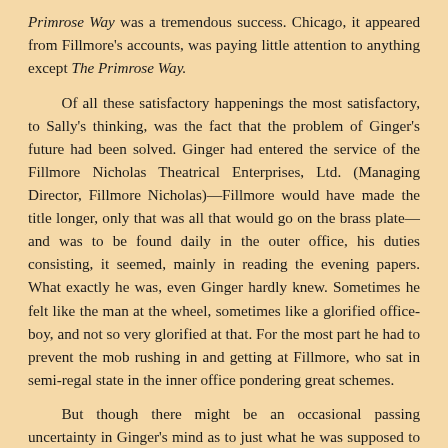Primrose Way was a tremendous success. Chicago, it appeared from Fillmore's accounts, was paying little attention to anything except The Primrose Way.

Of all these satisfactory happenings the most satisfactory, to Sally's thinking, was the fact that the problem of Ginger's future had been solved. Ginger had entered the service of the Fillmore Nicholas Theatrical Enterprises, Ltd. (Managing Director, Fillmore Nicholas)—Fillmore would have made the title longer, only that was all that would go on the brass plate—and was to be found daily in the outer office, his duties consisting, it seemed, mainly in reading the evening papers. What exactly he was, even Ginger hardly knew. Sometimes he felt like the man at the wheel, sometimes like a glorified office-boy, and not so very glorified at that. For the most part he had to prevent the mob rushing in and getting at Fillmore, who sat in semi-regal state in the inner office pondering great schemes.

But though there might be an occasional passing uncertainty in Ginger's mind as to just what he was supposed to be doing in exchange for the fifty dollars he